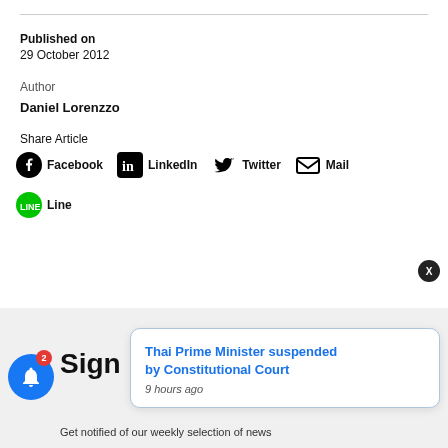Published on
29 October 2012
Author
Daniel Lorenzzo
Share Article
Facebook  LinkedIn  Twitter  Mail
Line
[Figure (screenshot): Newsletter sign-up section with blue bell notification button showing badge count 2, and a popup notification card reading 'Thai Prime Minister suspended by Constitutional Court — 9 hours ago'. A close X button appears top-right of the card.]
Get notified of our weekly selection of news